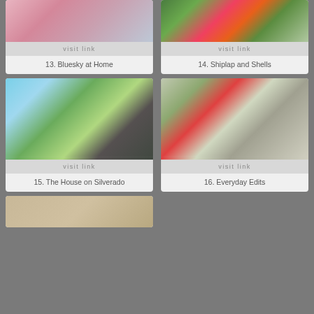[Figure (photo): Pink floral table setting with flowers in vases, pink napkins and silverware]
visit link
13. Bluesky at Home
[Figure (photo): Colorful dahlia flowers in vases on a wooden outdoor table]
visit link
14. Shiplap and Shells
[Figure (photo): Screened porch with black furniture overlooking green lawn and lake]
visit link
15. The House on Silverado
[Figure (photo): Close up of table setting with red gingham napkins and green leaves on white wood surface]
visit link
16. Everyday Edits
[Figure (photo): Partial bottom card showing table setting]